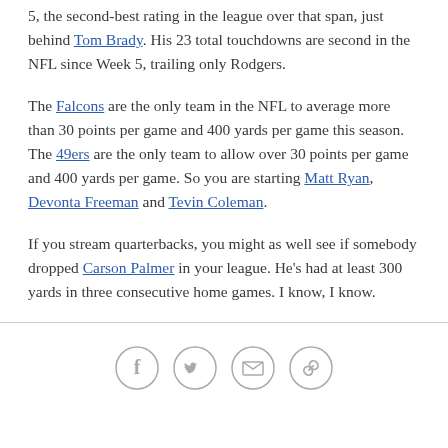5, the second-best rating in the league over that span, just behind Tom Brady. His 23 total touchdowns are second in the NFL since Week 5, trailing only Rodgers.
The Falcons are the only team in the NFL to average more than 30 points per game and 400 yards per game this season. The 49ers are the only team to allow over 30 points per game and 400 yards per game. So you are starting Matt Ryan, Devonta Freeman and Tevin Coleman.
If you stream quarterbacks, you might as well see if somebody dropped Carson Palmer in your league. He's had at least 300 yards in three consecutive home games. I know, I know.
[Figure (other): Social sharing icons: Facebook, Twitter, Email, Link]